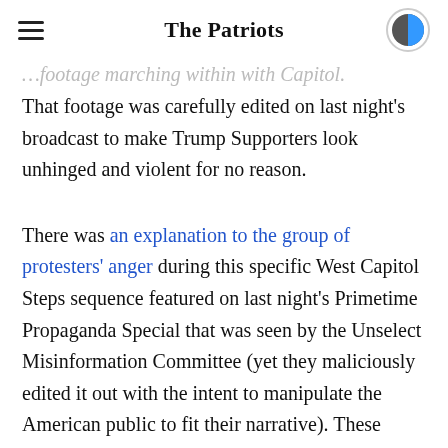The Patriots
…footage marching within with Capitol. That footage was carefully edited on last night's broadcast to make Trump Supporters look unhinged and violent for no reason.
There was an explanation to the group of protesters' anger during this specific West Capitol Steps sequence featured on last night's Primetime Propaganda Special that was seen by the Unselect Misinformation Committee (yet they maliciously edited it out with the intent to manipulate the American public to fit their narrative). These outraged protestors had witnessed the beating of